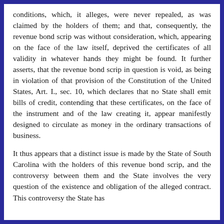conditions, which, it alleges, were never repealed, as was claimed by the holders of them; and that, consequently, the revenue bond scrip was without consideration, which, appearing on the face of the law itself, deprived the certificates of all validity in whatever hands they might be found. It further asserts, that the revenue bond scrip in question is void, as being in violation of that provision of the Constitution of the United States, Art. I., sec. 10, which declares that no State shall emit bills of credit, contending that these certificates, on the face of the instrument and of the law creating it, appear manifestly designed to circulate as money in the ordinary transactions of business.
It thus appears that a distinct issue is made by the State of South Carolina with the holders of this revenue bond scrip, and the controversy between them and the State involves the very question of the existence and obligation of the alleged contract. This controversy the State has